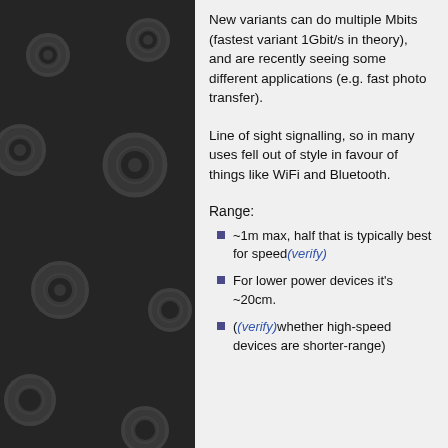[Figure (illustration): Dark background with repeating gear/cog pattern in dark grey tones on the left side of the page]
New variants can do multiple Mbits (fastest variant 1Gbit/s in theory), and are recently seeing some different applications (e.g. fast photo transfer).
Line of sight signalling, so in many uses fell out of style in favour of things like WiFi and Bluetooth.
Range:
~1m max, half that is typically best for speed(verify)
For lower power devices it's ~20cm.
((verify)whether high-speed devices are shorter-range)